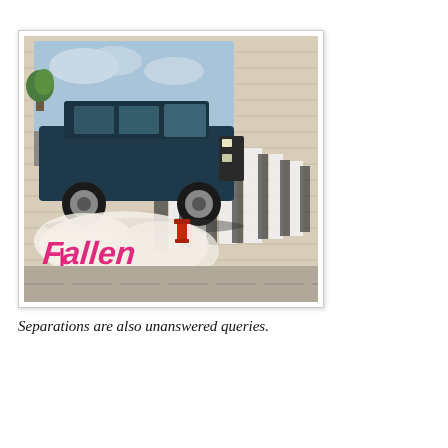[Figure (photo): A photograph showing a graffiti mural painted on a garage door. The mural depicts a dark navy/teal hearse or station wagon car on a zebra crossing (crosswalk). Below the car, pink/magenta graffiti text reads 'Fallen'. The garage door has horizontal slats and the ground in front shows a sidewalk. The photo has a white border giving it a polaroid-like appearance.]
Separations are also unanswered queries.